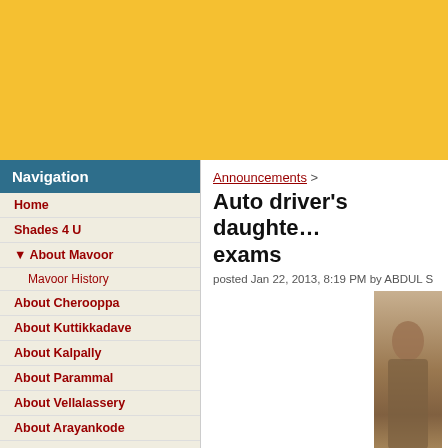[Figure (other): Top yellow banner/header area]
Navigation
Home
Shades 4 U
About Mavoor
Mavoor History
About Cherooppa
About Kuttikkadave
About Kalpally
About Parammal
About Vellalassery
About Arayankode
Talent Zone
Information
Career Track
Institutions
Personalities
Telephone Directory
Blood Group Directory
News
Announcements >
Auto driver's daughter tops exams
posted Jan 22, 2013, 8:19 PM by ABDUL S
[Figure (photo): Photo of a person, partially visible on the right side]
Mumbai: The dream of a lifetime ma wide Chartered Accountancy exam in